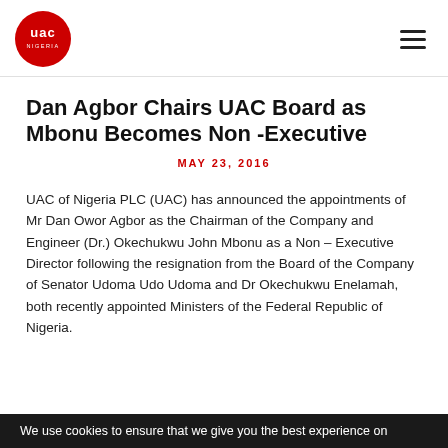UAC logo and navigation
Dan Agbor Chairs UAC Board as Mbonu Becomes Non -Executive
MAY 23, 2016
UAC of Nigeria PLC (UAC) has announced the appointments of Mr Dan Owor Agbor as the Chairman of the Company and Engineer (Dr.) Okechukwu John Mbonu as a Non – Executive Director following the resignation from the Board of the Company of Senator Udoma Udo Udoma and Dr Okechukwu Enelamah, both recently appointed Ministers of the Federal Republic of Nigeria.
We use cookies to ensure that we give you the best experience on